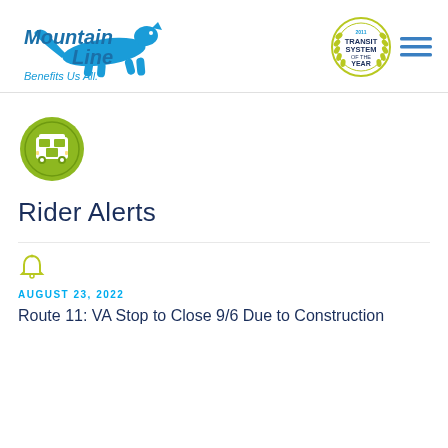[Figure (logo): Mountain Line transit logo with cheetah/cougar icon and tagline 'Benefits Us All.']
[Figure (logo): 2011 Transit System of the Year badge with laurel wreath]
[Figure (illustration): Hamburger menu icon (three horizontal lines)]
[Figure (illustration): Green circle with white bus icon representing Rider Alerts section]
Rider Alerts
[Figure (illustration): Bell/alert icon]
AUGUST 23, 2022
Route 11: VA Stop to Close 9/6 Due to Construction